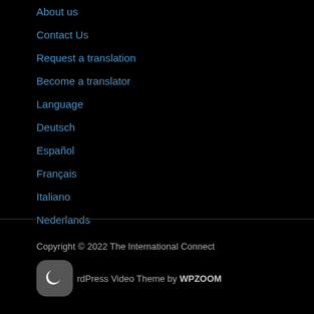About us
Contact Us
Request a translation
Become a translator
Language
Deutsch
Español
Français
Italiano
Nederlands
Copyright © 2022 The International Connect
WordPress Video Theme by WPZOOM